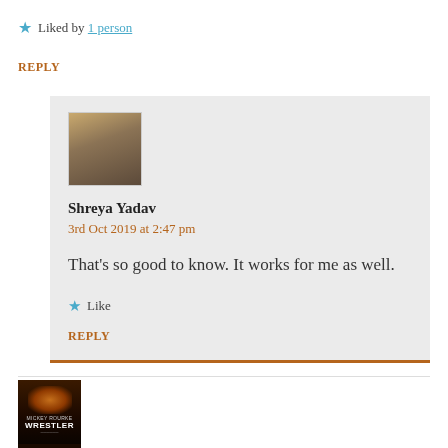★ Liked by 1 person
REPLY
Shreya Yadav
3rd Oct 2019 at 2:47 pm
That's so good to know. It works for me as well.
★ Like
REPLY
[Figure (photo): Movie poster thumbnail for 'The Wrestler' featuring Mickey Rourke, dark background with orange glow]